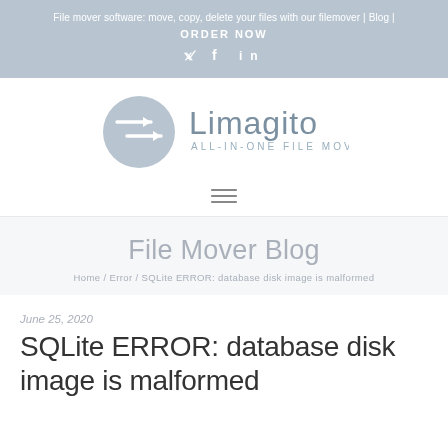File mover software: move, copy, delete your files with our filemover | Blog |
ORDER NOW
[Figure (logo): Limagito All-in-one file mover logo with circular arrow icon]
File Mover Blog
Home / Error / SQLite ERROR: database disk image is malformed
June 25, 2020
SQLite ERROR: database disk image is malformed